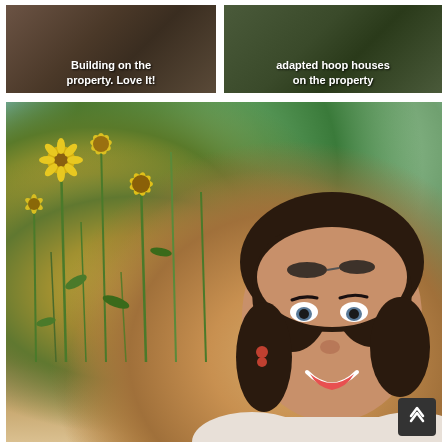[Figure (photo): Outdoor photo with white text overlay reading 'Building on the property. Love It!' showing a person or scene on a farm/property]
[Figure (photo): Outdoor photo with white text overlay reading 'adapted hoop houses on the property' showing hoop house structures on a farm]
[Figure (photo): Large photo of a smiling woman with dark hair, sunglasses on head, standing in front of yellow wildflowers (likely tickseed or similar daisy-type flowers) in a garden or greenhouse setting, with another person visible in the background]